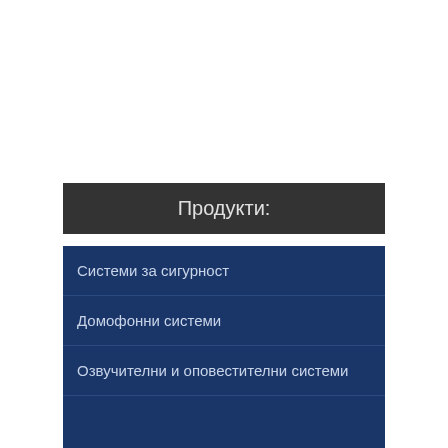Продукти:
Системи за сигурност
Домофонни системи
Озвучителни и оповестителни системи